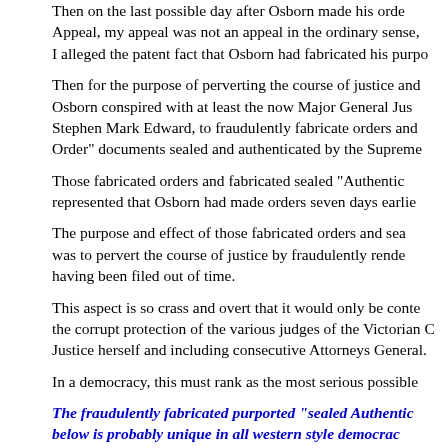Then on the last possible day after Osborn made his order... Appeal, my appeal was not an appeal in the ordinary sense, I alleged the patent fact that Osborn had fabricated his purpo...
Then for the purpose of perverting the course of justice and... Osborn conspired with at least the now Major General Jus... Stephen Mark Edward, to fraudulently fabricate orders and... Order" documents sealed and authenticated by the Supreme...
Those fabricated orders and fabricated sealed "Authentic... represented that Osborn had made orders seven days earlie...
The purpose and effect of those fabricated orders and sea... was to pervert the course of justice by fraudulently rende... having been filed out of time.
This aspect is so crass and overt that it would only be conte... the corrupt protection of the various judges of the Victorian C... Justice herself and including consecutive Attorneys General.
In a democracy, this must rank as the most serious possible...
The fraudulently fabricated purported "sealed Authentic... below is probably unique in all western style democrac... Justice Robert Osborn and the Supreme Court of Victori...